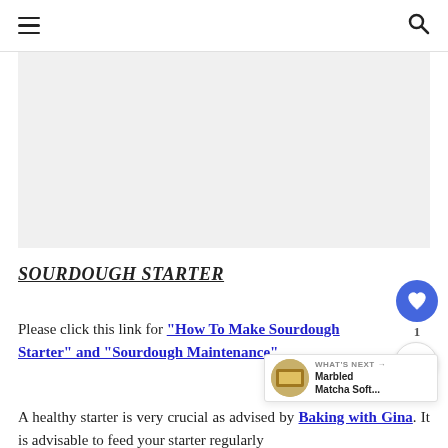Navigation header with hamburger menu and search icon
[Figure (photo): Rectangular image placeholder (light gray), likely a food/bread photo]
SOURDOUGH STARTER
Please click this link for "How To Make Sourdough Starter" and "Sourdough Maintenance"
A healthy starter is very crucial as advised by Baking with Gina. It is advisable to feed your starter regularly